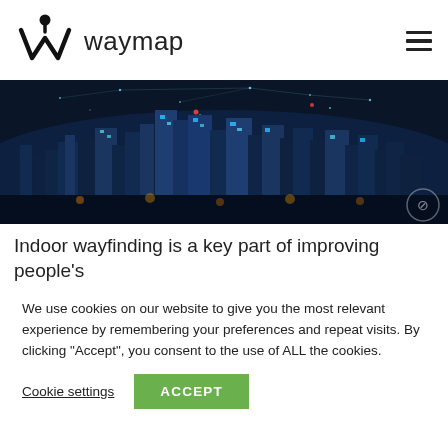waymap
[Figure (photo): Night aerial view of a city skyline with illuminated skyscrapers and digital network overlay lines]
Indoor wayfinding is a key part of improving people's
We use cookies on our website to give you the most relevant experience by remembering your preferences and repeat visits. By clicking “Accept”, you consent to the use of ALL the cookies.
Cookie settings  ACCEPT